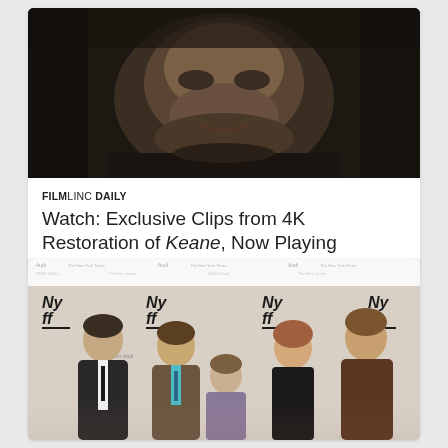[Figure (photo): Close-up dark cinematic photo of a man's face from the film Keane, dramatic low-key lighting]
FILMLINC DAILY
Watch: Exclusive Clips from 4K Restoration of Keane, Now Playing
[Figure (photo): Group photo of five people (cast and crew) at NYFF (New York Film Festival) step-and-repeat backdrop with Nyff logos and sponsor logos including Audi and The New York Times]